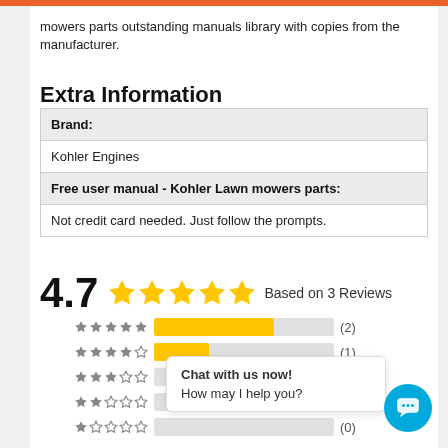mowers parts outstanding manuals library with copies from the manufacturer.
Extra Information
| Brand: |
| Kohler Engines |
| Free user manual - Kohler Lawn mowers parts: |
| Not credit card needed. Just follow the prompts. |
4.7 ★★★★★ Based on 3 Reviews
★★★★★ bar (2)
★★★★☆ bar (1)
★★★☆☆ bar (0)
★★☆☆☆ bar (0)
★☆☆☆☆ bar (0)
Chat with us now!
How may I help you?